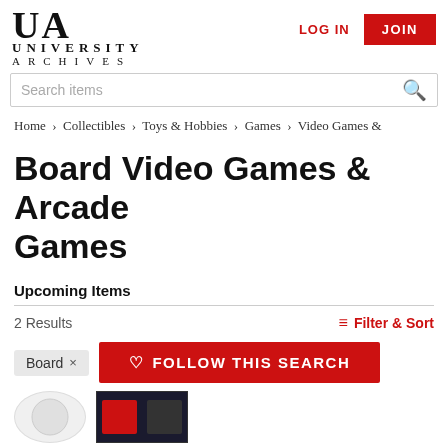UA UNIVERSITY ARCHIVES
LOG IN | JOIN
Search items
Home > Collectibles > Toys & Hobbies > Games > Video Games &
Board Video Games & Arcade Games
Upcoming Items
2 Results
Filter & Sort
Board ×
FOLLOW THIS SEARCH